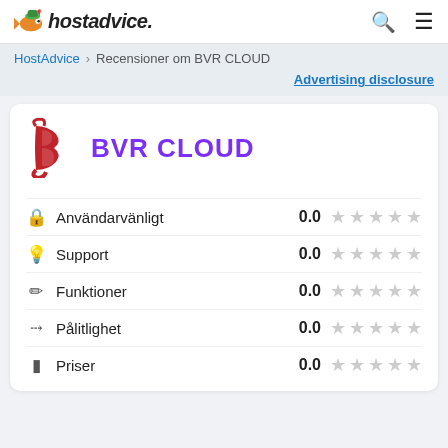hostadvice. [search icon] [menu icon]
HostAdvice > Recensioner om BVR CLOUD
Advertising disclosure
[Figure (logo): BVR CLOUD logo with red stylized B letter and purple text BVR CLOUD]
Användarvänligt  0.0  ★★★★★
Support  0.0  ★★★★★
Funktioner  0.0  ★★★★★
Pålitlighet  0.0  ★★★★★
Priser  0.0  ★★★★★